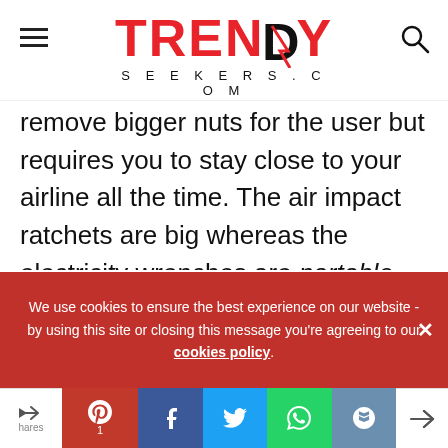TRENDY SEEKERS.COM
remove bigger nuts for the user but requires you to stay close to your airline all the time. The air impact ratchets are big whereas the electricity wrenches are portable, convenient for moving and fitting into those tighter spots. Hence, you should decide if it is the best air impact wrench you need or that of the electricity.
We use cookies to ensure the best experience on our website - by using this site or closing this message you're agreeing to our cookies policy.
Share bar with social icons